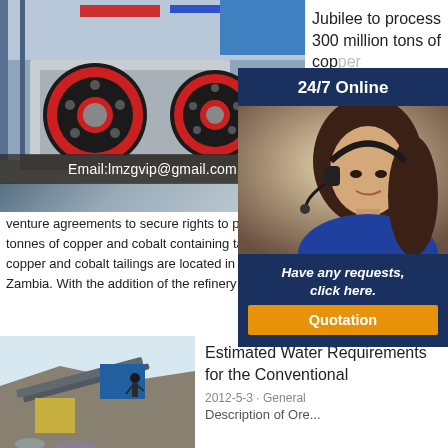[Figure (photo): Industrial jaw crusher machinery in a factory setting with large red and black flywheels, overlaid with email text 'Email:lmzgvip@gmail.com']
Jubilee to process 300 million tons of cop... adm... Jubi... 202... into...
[Figure (photo): 24/7 Online customer service popup with a woman wearing a headset, a 'Have any requests, click here.' message and an orange 'Quotation' button]
venture agreements to secure rights to process o... tonnes of copper and cobalt containing tailings in... copper and cobalt tailings are located in three cer... Zambia. With the addition of the refinery at Mopa...
[Figure (photo): Mining conveyor belt system on a hillside with workers and equipment]
Estimated Water Requirements for the Conventional
2012-5-3 · General Description of Ore...